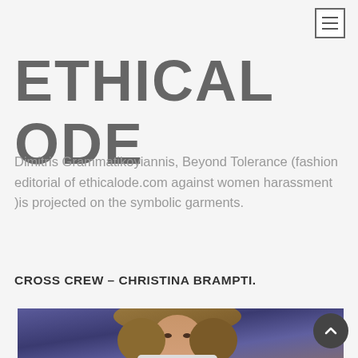ETHICAL ODE
Dimitris Grammatikoyiannis, Beyond Tolerance (fashion editorial of ethicalode.com against women harassment )is projected on the symbolic garments.
CROSS CREW – CHRISTINA BRAMPTI.
[Figure (photo): Fashion runway photo of a female model with long wavy hair against a blue/purple background]